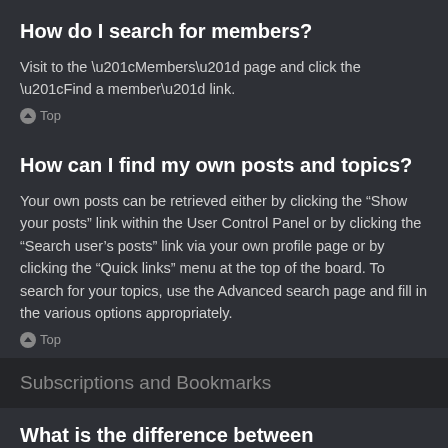How do I search for members?
Visit to the “Members” page and click the “Find a member” link.
∧ Top
How can I find my own posts and topics?
Your own posts can be retrieved either by clicking the “Show your posts” link within the User Control Panel or by clicking the “Search user’s posts” link via your own profile page or by clicking the “Quick links” menu at the top of the board. To search for your topics, use the Advanced search page and fill in the various options appropriately.
∧ Top
Subscriptions and Bookmarks
What is the difference between bookmarking and subscribing?
In phpBB 3.0, bookmarking topics worked much like bookmarking in a web browser. You were not alerted when there was an update. As of phpBB 3.1, bookmarking is more like subscribing to a topic. You can be notified when a bookmarked topic is updated. Subscribing, however, will